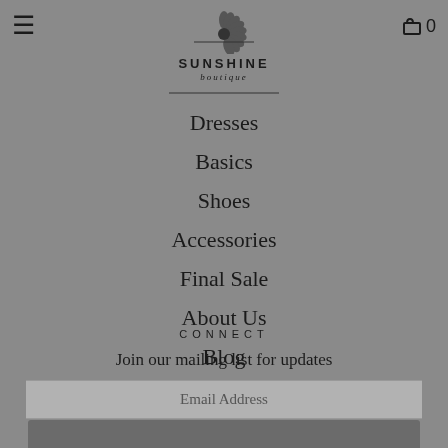[Figure (logo): Sunshine Boutique logo with sunflower/fan icon above text SUNSHINE boutique]
Dresses
Basics
Shoes
Accessories
Final Sale
About Us
Blog
CONNECT
Join our mailing list for updates
Email Address